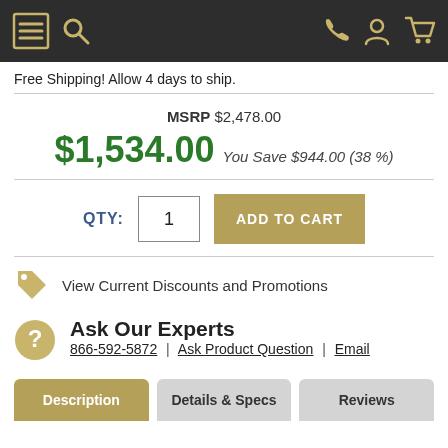Navigation bar with menu, search, phone, account, and cart icons
Free Shipping! Allow 4 days to ship.
MSRP $2,478.00
$1,534.00 You Save $944.00 (38 %)
QTY: 1  ADD TO CART
View Current Discounts and Promotions
Ask Our Experts
866-592-5872 | Ask Product Question | Email
Description | Details & Specs | Reviews